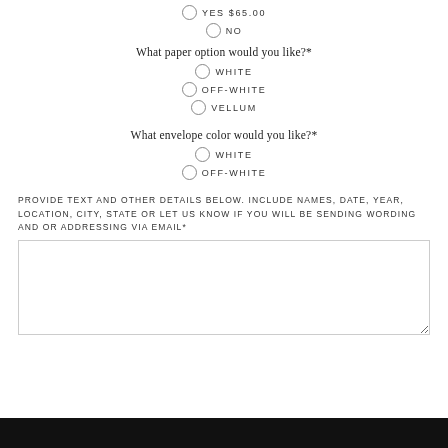YES $65.00
NO
What paper option would you like?*
WHITE
OFF-WHITE
VELLUM
What envelope color would you like?*
WHITE
OFF-WHITE
PROVIDE TEXT AND OTHER DETAILS BELOW. INCLUDE NAMES, DATE, YEAR, LOCATION, CITY, STATE OR LET US KNOW IF YOU WILL BE SENDING WORDING AND OR ADDRESSING VIA EMAIL*